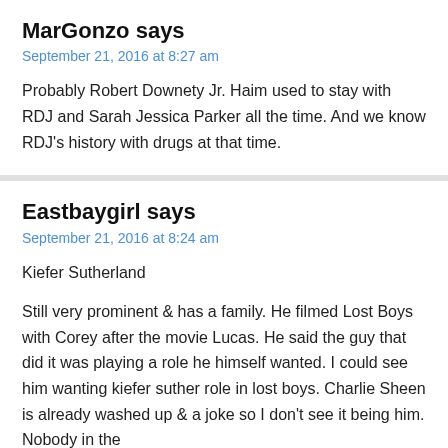MarGonzo says
September 21, 2016 at 8:27 am
Probably Robert Downety Jr. Haim used to stay with RDJ and Sarah Jessica Parker all the time. And we know RDJ's history with drugs at that time.
Eastbaygirl says
September 21, 2016 at 8:24 am
Kiefer Sutherland
Still very prominent & has a family. He filmed Lost Boys with Corey after the movie Lucas. He said the guy that did it was playing a role he himself wanted. I could see him wanting kiefer suther role in lost boys. Charlie Sheen is already washed up & a joke so I don't see it being him. Nobody in the